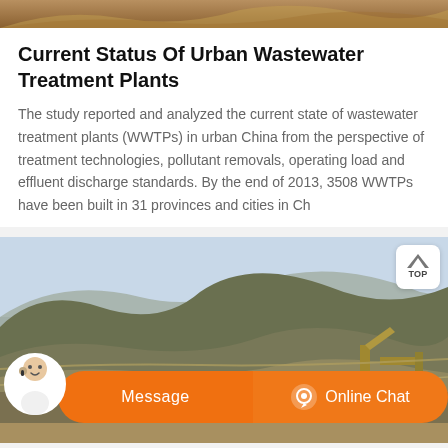[Figure (photo): Top strip showing a partial landscape/terrain photo in brown and sandy tones, cropped.]
Current Status Of Urban Wastewater Treatment Plants
The study reported and analyzed the current state of wastewater treatment plants (WWTPs) in urban China from the perspective of treatment technologies, pollutant removals, operating load and effluent discharge standards. By the end of 2013, 3508 WWTPs have been built in 31 provinces and cities in Ch
[Figure (photo): Landscape photograph showing a large open-cast mine or quarry with terraced mountain slopes and industrial mining equipment in the foreground on a clear day.]